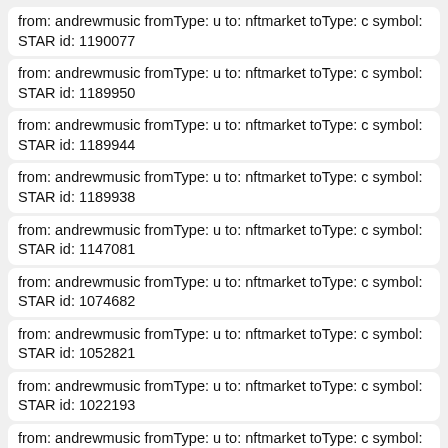from: andrewmusic fromType: u to: nftmarket toType: c symbol: STAR id: 1190077
from: andrewmusic fromType: u to: nftmarket toType: c symbol: STAR id: 1189950
from: andrewmusic fromType: u to: nftmarket toType: c symbol: STAR id: 1189944
from: andrewmusic fromType: u to: nftmarket toType: c symbol: STAR id: 1189938
from: andrewmusic fromType: u to: nftmarket toType: c symbol: STAR id: 1147081
from: andrewmusic fromType: u to: nftmarket toType: c symbol: STAR id: 1074682
from: andrewmusic fromType: u to: nftmarket toType: c symbol: STAR id: 1052821
from: andrewmusic fromType: u to: nftmarket toType: c symbol: STAR id: 1022193
from: andrewmusic fromType: u to: nftmarket toType: c symbol: STAR id: 1010332
from: andrewmusic fromType: u to: nftmarket toType: c symbol: STAR id: 1010043
from: andrewmusic fromType: u to: nftmarket toType: c symbol: STAR id: 1009947
from: andrewmusic fromType: u to: nftmarket toType: c symbol: STAR id: 1009934